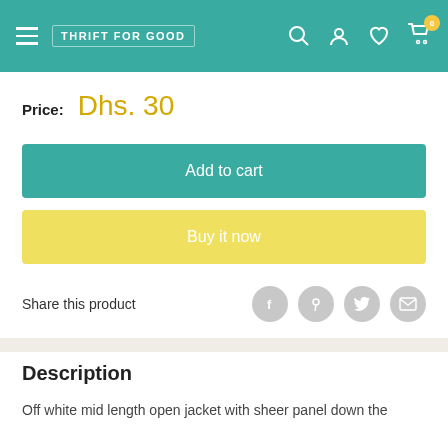THRIFT FOR GOOD
Price: Dhs. 30
Add to cart
Buy it now
Share this product
Description
Off white mid length open jacket with sheer panel down the